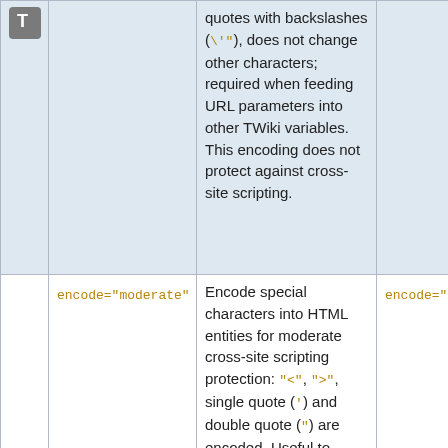|  | Parameter | Description | Next |
| --- | --- | --- | --- |
| [T icon] |  | quotes with backslashes (\'"), does not change other characters; required when feeding URL parameters into other TWiki variables. This encoding does not protect against cross-site scripting. |  |
|  | encode="moderate" | Encode special characters into HTML entities for moderate cross-site scripting protection: "<", ">", single quote (') and double quote (") are encoded. Useful to allow TWiki variables in comment boxes. | encode="safe" |